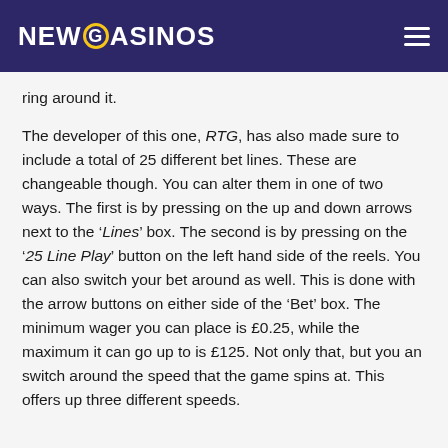NEWCASINOS
ring around it.
The developer of this one, RTG, has also made sure to include a total of 25 different bet lines. These are changeable though. You can alter them in one of two ways. The first is by pressing on the up and down arrows next to the ‘Lines’ box. The second is by pressing on the ‘25 Line Play’ button on the left hand side of the reels. You can also switch your bet around as well. This is done with the arrow buttons on either side of the ‘Bet’ box. The minimum wager you can place is £0.25, while the maximum it can go up to is £125. Not only that, but you an switch around the speed that the game spins at. This offers up three different speeds.